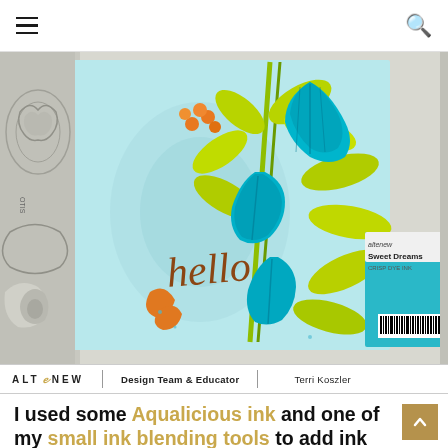Navigation header with hamburger menu and search icon
[Figure (photo): Crafting flat lay photo showing a handmade greeting card with teal/turquoise floral illustration (bell-shaped blooms and yellow-green leaves), handwritten 'hello' text in copper/brown script, orange berry accents, on light blue watercolor background. Surrounding the card are rubber stamps, ink pads including 'Sweet Dreams' Crisp Dye Ink, and a barcode label.]
ALTENEW   Design Team & Educator   Terri Koszler
I used some Aqualicious ink and one of my small ink blending tools to add ink through